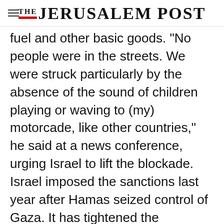THE JERUSALEM POST
fuel and other basic goods. "No people were in the streets. We were struck particularly by the absence of the sound of children playing or waving to (my) motorcade, like other countries," he said at a news conference, urging Israel to lift the blockade. Israel imposed the sanctions last year after Hamas seized control of Gaza. It has tightened the blockade in recent months in response to repeated rocket attacks by
Advertisement